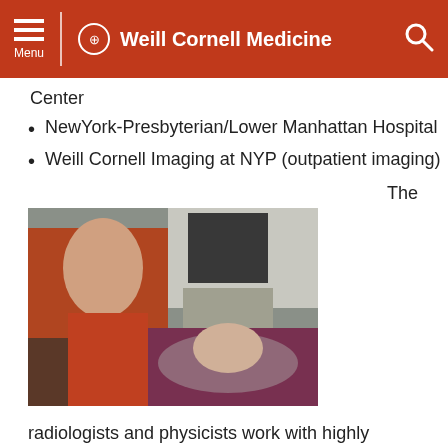Weill Cornell Medicine
Center
NewYork-Presbyterian/Lower Manhattan Hospital
Weill Cornell Imaging at NYP (outpatient imaging)
The
[Figure (photo): A radiology technologist in red scrubs performing an ultrasound on a patient lying on an examination table, with ultrasound equipment visible in the background.]
radiologists and physicists work with highly skilled radiology technologists and nurses to perform and coordinate imaging services with your medical care and